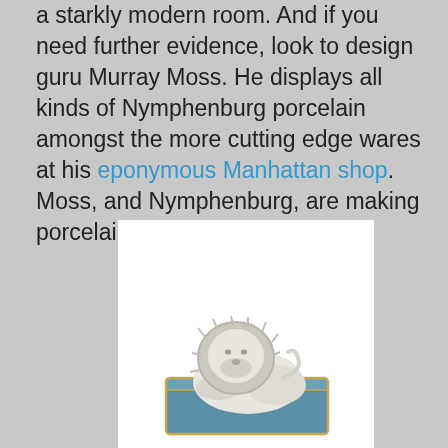a starkly modern room. And if you need further evidence, look to design guru Murray Moss. He displays all kinds of Nymphenburg porcelain amongst the more cutting edge wares at his eponymous Manhattan shop. Moss, and Nymphenburg, are making porcelain cool again.
[Figure (photo): A small white porcelain lion figurine resting on a rectangular blue box/plinth with gold trim edges, set against a white background.]